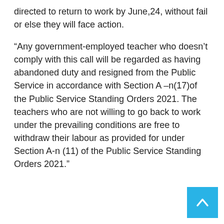directed to return to work by June,24, without fail or else they will face action.
“Any government-employed teacher who doesn’t comply with this call will be regarded as having abandoned duty and resigned from the Public Service in accordance with Section A –n(17)of the Public Service Standing Orders 2021. The teachers who are not willing to go back to work under the prevailing conditions are free to withdraw their labour as provided for under Section A-n (11) of the Public Service Standing Orders 2021.”
[Figure (other): Back to top button — a cyan/light-blue square with a white upward-pointing chevron arrow]